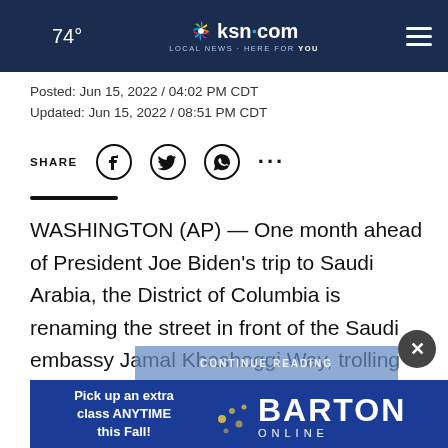🌙 74° | ksn.com LOCAL NEWS · HERE FOR YOU | ≡
Posted: Jun 15, 2022 / 04:02 PM CDT
Updated: Jun 15, 2022 / 08:51 PM CDT
SHARE
WASHINGTON (AP) — One month ahead of President Joe Biden's trip to Saudi Arabia, the District of Columbia is renaming the street in front of the Saudi embassy Jamal Khashoggi Way, trolling Riyadh for its role in the killing of the dissident Saudi activist and journalist in 2018
[Figure (screenshot): Advertisement banner for Barton Online: 'Pick up an extra class ANYTIME this Fall! BARTON ONLINE']